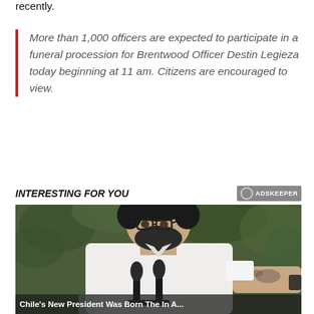recently.
More than 1,000 officers are expected to participate in a funeral procession for Brentwood Officer Destin Legieza today beginning at 11 am. Citizens are encouraged to view.
INTERESTING FOR YOU
[Figure (photo): Man with dark beard and glasses wearing white shirt at press conference podium with microphones, receiving something from tattooed arm entering from right, green foliage in background]
Chile's New President Was Born The In A...